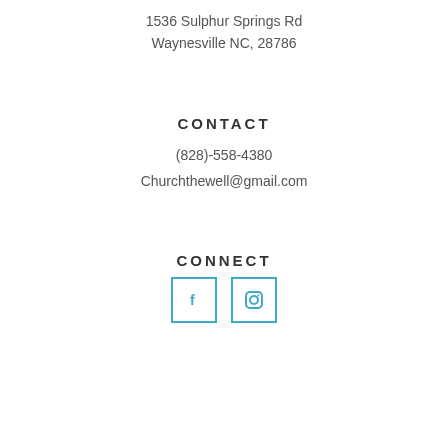1536 Sulphur Springs Rd
Waynesville NC, 28786
CONTACT
(828)-558-4380
Churchthewell@gmail.com
CONNECT
[Figure (infographic): Two social media icon boxes: Facebook (f) and Instagram (circle with square), outlined in blue]